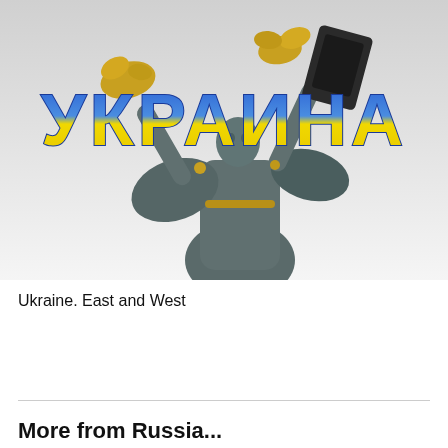[Figure (photo): Photo of a large statue (woman figure with raised arms holding golden branches and a shield) against a bright sky, with large Cyrillic text 'УКРАИНА' overlaid in bold blue-to-yellow gradient letters]
Ukraine. East and West
More from Russia...